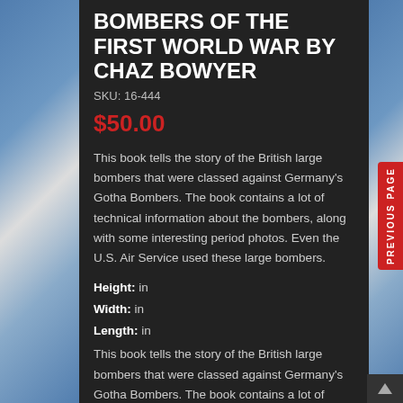BOMBERS OF THE FIRST WORLD WAR by CHAZ BOWYER
SKU: 16-444
$50.00
This book tells the story of the British large bombers that were classed against Germany's Gotha Bombers. The book contains a lot of technical information about the bombers, along with some interesting period photos. Even the U.S. Air Service used these large bombers.
Height: in
Width: in
Length: in
This book tells the story of the British large bombers that were classed against Germany's Gotha Bombers. The book contains a lot of technical information about the bombers, along with some interesting period photos. Even the U.S. Air Service used these large bombers.